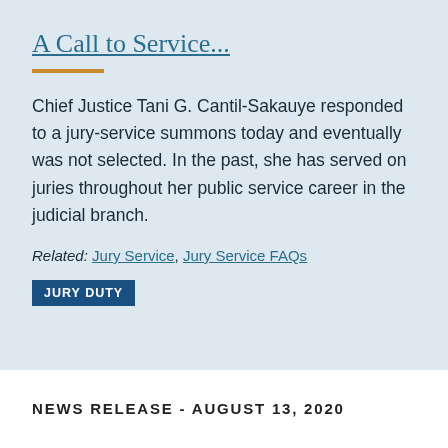A Call to Service...
Chief Justice Tani G. Cantil-Sakauye responded to a jury-service summons today and eventually was not selected. In the past, she has served on juries throughout her public service career in the judicial branch.
Related: Jury Service, Jury Service FAQs
JURY DUTY
NEWS RELEASE - AUGUST 13, 2020